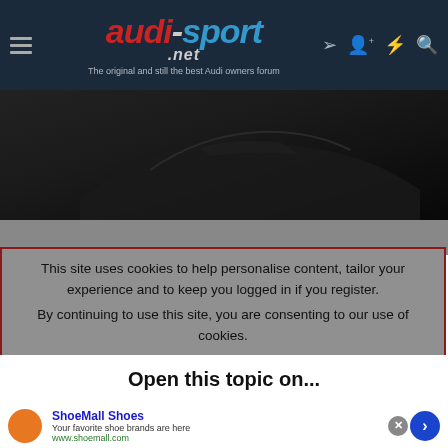audi-sport.net — The original and still the best Audi owners forum
[Figure (screenshot): Dark banner image showing a partial silhouette of an Audi car against a very dark background]
This site uses cookies to help personalise content, tailor your experience and to keep you logged in if you register.
By continuing to use this site, you are consenting to our use of cookies.
Open this topic on...
[Figure (infographic): Advertisement banner for ShoeMall Shoes: 'Your favorite shoe brands are here' with URL www.shoemall.com, close button, and blue arrow navigation button]